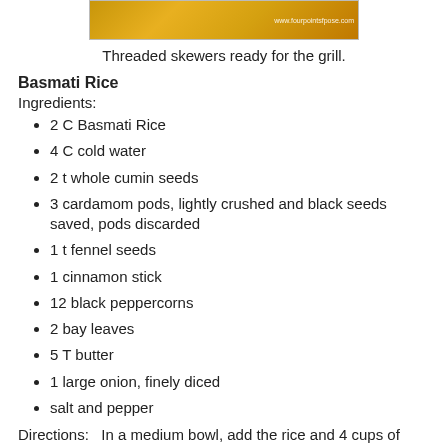[Figure (photo): Photo of threaded skewers with yellow/golden marinated meat or vegetables, ready for the grill. Watermark reads www.fourpointsfpose.com]
Threaded skewers ready for the grill.
Basmati Rice
Ingredients:
2 C Basmati Rice
4 C cold water
2 t whole cumin seeds
3 cardamom pods, lightly crushed and black seeds saved, pods discarded
1 t fennel seeds
1 cinnamon stick
12 black peppercorns
2 bay leaves
5 T butter
1 large onion, finely diced
salt and pepper
Directions:   In a medium bowl, add the rice and 4 cups of cold water.